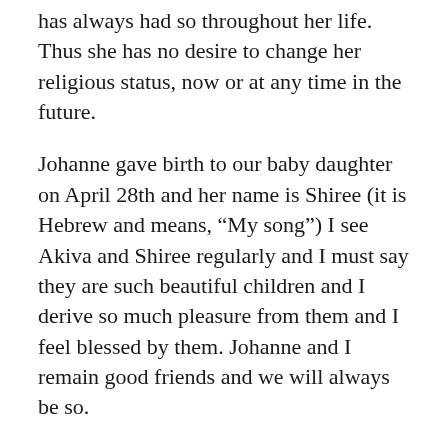has always had so throughout her life. Thus she has no desire to change her religious status, now or at any time in the future.
Johanne gave birth to our baby daughter on April 28th and her name is Shiree (it is Hebrew and means, “My song”) I see Akiva and Shiree regularly and I must say they are such beautiful children and I derive so much pleasure from them and I feel blessed by them. Johanne and I remain good friends and we will always be so.
Although this last year has had much pain and sadness, I am excited about my journey with the Messiah. The pain and suffering I have experienced has made me a better person, certainly, more able to understand the suffering that Jesus experienced. I am moved by the fact that Jesus died for...